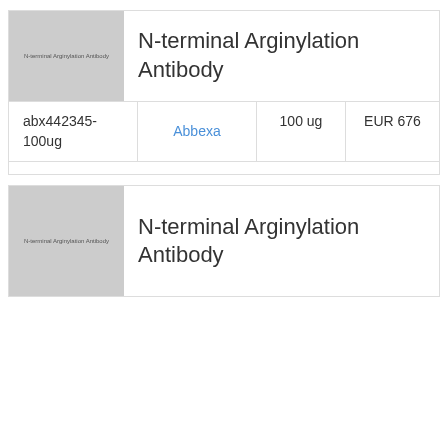[Figure (illustration): Placeholder image for N-terminal Arginylation Antibody, gray rectangle with small text label]
N-terminal Arginylation Antibody
|  | Supplier | Quantity | Price |
| --- | --- | --- | --- |
| abx442345-100ug | Abbexa | 100 ug | EUR 676 |
[Figure (illustration): Placeholder image for N-terminal Arginylation Antibody (second card), gray rectangle with small text label]
N-terminal Arginylation Antibody